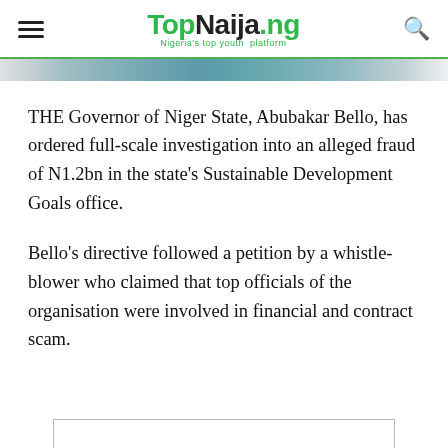TopNaija.ng — Nigeria's top youth platform
[Figure (photo): Partial image strip showing a photograph at the top of the article]
THE Governor of Niger State, Abubakar Bello, has ordered full-scale investigation into an alleged fraud of N1.2bn in the state's Sustainable Development Goals office.
Bello's directive followed a petition by a whistle-blower who claimed that top officials of the organisation were involved in financial and contract scam.